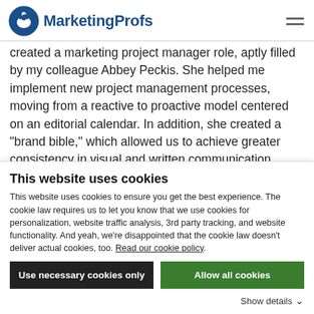MarketingProfs
created a marketing project manager role, aptly filled by my colleague Abbey Peckis. She helped me implement new project management processes, moving from a reactive to proactive model centered on an editorial calendar. In addition, she created a "brand bible," which allowed us to achieve greater consistency in visual and written communication.
Find a great marketing contractor
This website uses cookies
This website uses cookies to ensure you get the best experience. The cookie law requires us to let you know that we use cookies for personalization, website traffic analysis, 3rd party tracking, and website functionality. And yeah, we're disappointed that the cookie law doesn't deliver actual cookies, too. Read our cookie policy.
Use necessary cookies only
Allow all cookies
Show details